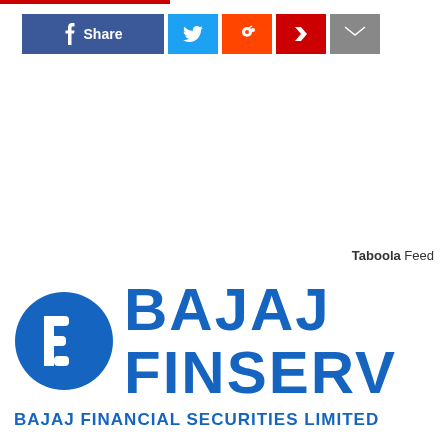[Figure (infographic): Social share buttons row: Facebook Share (blue), Twitter (light blue), Reddit (orange-red), Flipboard (red), Email (gray)]
Taboola Feed
[Figure (logo): Bajaj Finserv logo with circular B icon in blue and text BAJAJ FINSERV in bold blue letters, with BAJAJ FINANCIAL SECURITIES LIMITED below]